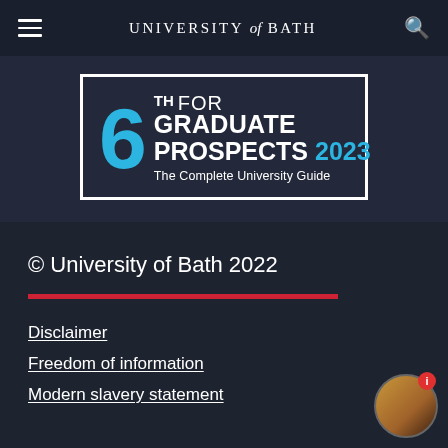UNIVERSITY of BATH
[Figure (infographic): Badge graphic: '6th FOR GRADUATE PROSPECTS 2023 The Complete University Guide' on dark background with white border, large blue '6', white and cyan text.]
© University of Bath 2022
Disclaimer
Freedom of information
Modern slavery statement